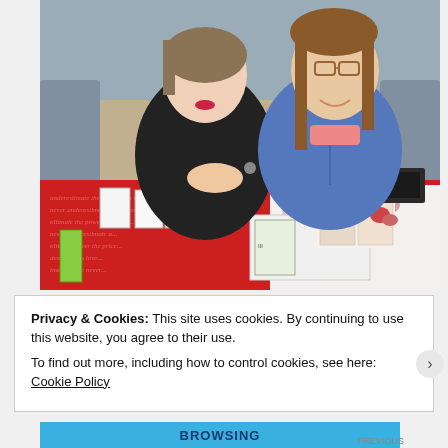[Figure (photo): Two women sitting at a vendor table with books, cards, and crafts on display. The table has a red patterned tablecloth with script text. The woman on the left wears a black top and the woman on the right wears a denim jacket. Items on the table include small books, cards, and notebooks.]
Privacy & Cookies: This site uses cookies. By continuing to use this website, you agree to their use.
To find out more, including how to control cookies, see here: Cookie Policy
Close and accept